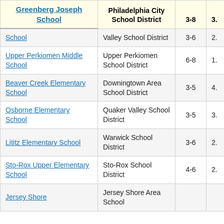| Greenberg Joseph School | Philadelphia City School District | 3-8 | 3. |
| --- | --- | --- | --- |
| School | Valley School District | 3-6 | 2. |
| Upper Perkiomen Middle School | Upper Perkiomen School District | 6-8 | 1. |
| Beaver Creek Elementary School | Downingtown Area School District | 3-5 | 4. |
| Osborne Elementary School | Quaker Valley School District | 3-5 | 3. |
| Lititz Elementary School | Warwick School District | 3-6 | 2. |
| Sto-Rox Upper Elementary School | Sto-Rox School District | 4-6 | 2. |
| Jersey Shore | Jersey Shore Area School | 6-8 |  |